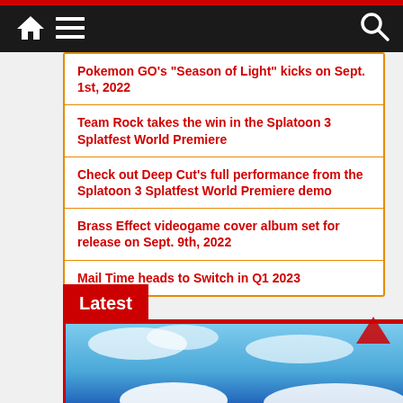Navigation bar with home, menu, and search icons
Pokemon GO's 'Season of Light' kicks on Sept. 1st, 2022
Team Rock takes the win in the Splatoon 3 Splatfest World Premiere
Check out Deep Cut's full performance from the Splatoon 3 Splatfest World Premiere demo
Brass Effect videogame cover album set for release on Sept. 9th, 2022
Mail Time heads to Switch in Q1 2023
Latest
[Figure (photo): Blue sky/snow scene partial image at bottom of page]